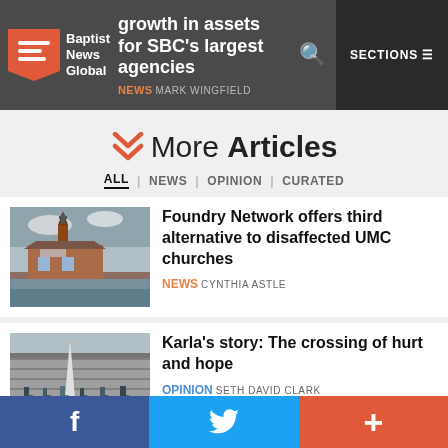Baptist News Global | growth in assets for SBC's largest agencies | NEWS MARK WINGFIELD | SECTIONS
More Articles
ALL | NEWS | OPINION | CURATED
[Figure (photo): Church building with steeple under cloudy sky]
Foundry Network offers third alternative to disaffected UMC churches
NEWS CYNTHIA ASTLE
[Figure (photo): People gathered at a border wall or monument area]
Karla's story: The crossing of hurt and hope
OPINION SETH DAVID CLARK
f (Facebook) | Twitter bird | + (share)